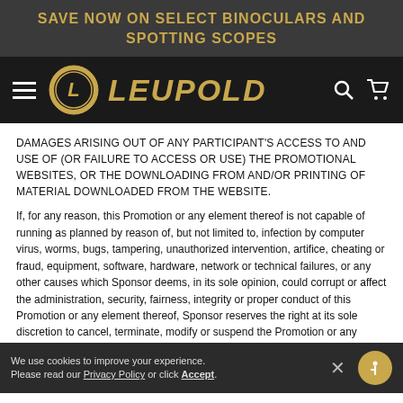SAVE NOW ON SELECT BINOCULARS AND SPOTTING SCOPES
[Figure (logo): Leupold logo with circular emblem and brand name in gold italic text on dark navigation bar]
DAMAGES ARISING OUT OF ANY PARTICIPANT'S ACCESS TO AND USE OF (OR FAILURE TO ACCESS OR USE) THE PROMOTIONAL WEBSITES, OR THE DOWNLOADING FROM AND/OR PRINTING OF MATERIAL DOWNLOADED FROM THE WEBSITE.
If, for any reason, this Promotion or any element thereof is not capable of running as planned by reason of, but not limited to, infection by computer virus, worms, bugs, tampering, unauthorized intervention, artifice, cheating or fraud, equipment, software, hardware, network or technical failures, or any other causes which Sponsor deems, in its sole opinion, could corrupt or affect the administration, security, fairness, integrity or proper conduct of this Promotion or any element thereof, Sponsor reserves the right at its sole discretion to cancel, terminate, modify or suspend the Promotion or any element thereof and
We use cookies to improve your experience. Please read our Privacy Policy or click Accept.